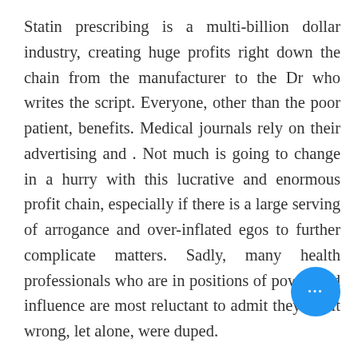Statin prescribing is a multi-billion dollar industry, creating huge profits right down the chain from the manufacturer to the Dr who writes the script. Everyone, other than the poor patient, benefits. Medical journals rely on their advertising and . Not much is going to change in a hurry with this lucrative and enormous profit chain, especially if there is a large serving of arrogance and over-inflated egos to further complicate matters. Sadly, many health professionals who are in positions of power and influence are most reluctant to admit they got it wrong, let alone, were duped.
Change will have to come from the